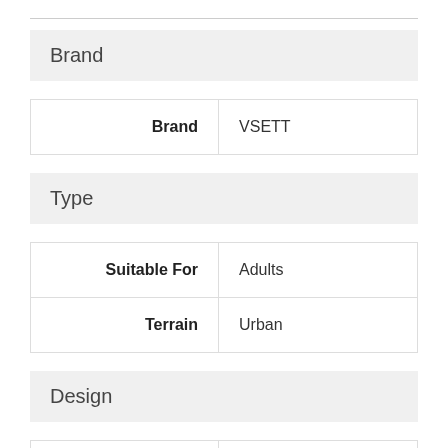Brand
| Brand | VSETT |
| --- | --- |
| Brand | VSETT |
Type
| Suitable For | Terrain |
| --- | --- |
| Suitable For | Adults |
| Terrain | Urban |
Design
|  | Folding Frame, Folding |